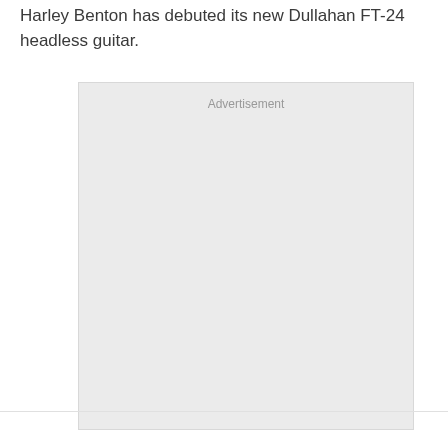Harley Benton has debuted its new Dullahan FT-24 headless guitar.
[Figure (other): Advertisement placeholder box with light gray background and 'Advertisement' label at top center]